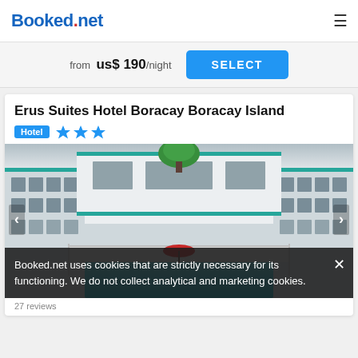Booked.net
from us$ 190/night
Erus Suites Hotel Boracay Boracay Island
Hotel ★★★
[Figure (photo): Exterior photo of Erus Suites Hotel Boracay showing the building facade with large windows, green roof trim, a swimming pool in the foreground, a red umbrella, and a tree in the background.]
Booked.net uses cookies that are strictly necessary for its functioning. We do not collect analytical and marketing cookies.
27 reviews